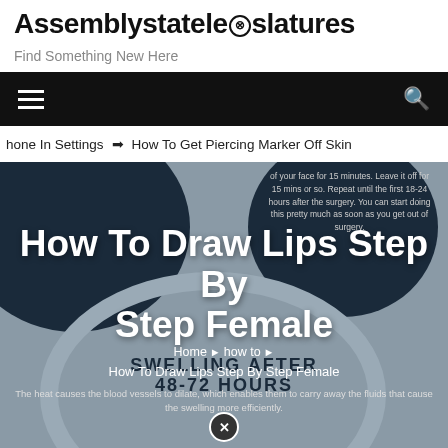Assemblystatelegislatures
Find Something New Here
[Figure (screenshot): Black navigation bar with hamburger menu icon on left and search icon on right]
hone In Settings  ➔  How To Get Piercing Marker Off Skin
[Figure (infographic): Hero image with dark navy blue circular shapes on grey background, showing article title 'How To Draw Lips Step By Step Female' overlaid in bold white text, with 'SWELLING AFTER 48-72 HOURS' text, breadcrumb navigation 'Home > how to >', article link 'How To Draw Lips Step By Step Female', and caption text about blood vessels, plus a close/X button icon]
How To Draw Lips Step By Step Female
Home > how to >
How To Draw Lips Step By Step Female
The heat causes the blood vessels to dilate, which enables them to carry away the fluids that cause the swelling more efficiently.